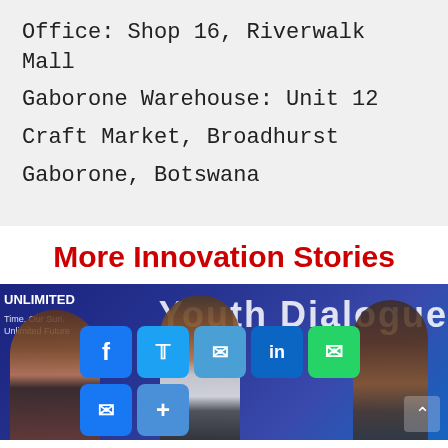Office: Shop 16, Riverwalk Mall
Gaborone Warehouse: Unit 12
Craft Market, Broadhurst
Gaborone, Botswana
More Innovation Stories
[Figure (photo): Photo of people at a Youth Dialogue event with social media sharing buttons overlaid (Facebook, Twitter, Email, LinkedIn, WhatsApp, Messenger, Share+)]